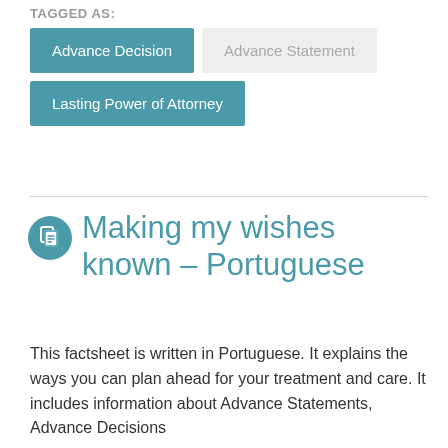TAGGED AS:
Advance Decision
Advance Statement
Lasting Power of Attorney
Making my wishes known – Portuguese
This factsheet is written in Portuguese. It explains the ways you can plan ahead for your treatment and care. It includes information about Advance Statements, Advance Decisions